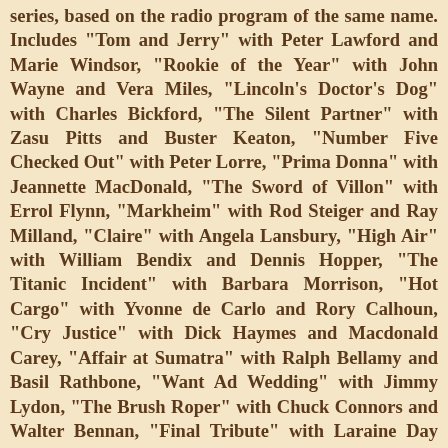series, based on the radio program of the same name. Includes "Tom and Jerry" with Peter Lawford and Marie Windsor, "Rookie of the Year" with John Wayne and Vera Miles, "Lincoln's Doctor's Dog" with Charles Bickford, "The Silent Partner" with Zasu Pitts and Buster Keaton, "Number Five Checked Out" with Peter Lorre, "Prima Donna" with Jeannette MacDonald, "The Sword of Villon" with Errol Flynn, "Markheim" with Rod Steiger and Ray Milland, "Claire" with Angela Lansbury, "High Air" with William Bendix and Dennis Hopper, "The Titanic Incident" with Barbara Morrison, "Hot Cargo" with Yvonne de Carlo and Rory Calhoun, "Cry Justice" with Dick Haymes and Macdonald Carey, "Affair at Sumatra" with Ralph Bellamy and Basil Rathbone, "Want Ad Wedding" with Jimmy Lydon, "The Brush Roper" with Chuck Connors and Walter Bennan, "Final Tribute" with Laraine Day and Thomas Mitchell, "The Life of Vernon Hathaway" with Alan Young and Cloris Leachman, "Meet the Governor" with Barbara Hale, "Day is Done" with Rory Calhoun, "A Midsummer Daydream" with Kim Hunter and Keenan Wynn, "Arroyo" with Jack Carson, "A Most Unusual Day" with Fred MacMurray, "The Dream" with Sal Mineo and George Sanders, "What Day Is It?" with Gower Champion, "Every Man Has Two Wives" with Barry Nelson and Janet Blair, "A Ticket for Thaddeus" with